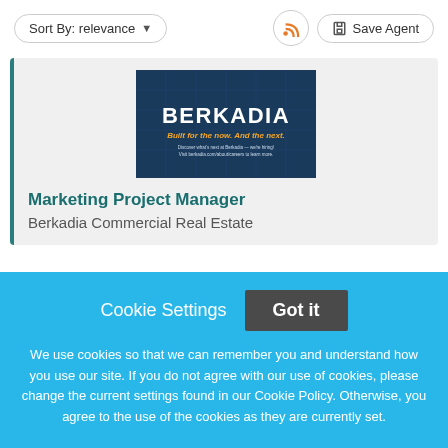Sort By: relevance ▼ | Save Agent
[Figure (logo): Berkadia logo banner — dark blue background with white BERKADIA text, gold tagline 'Built for the now. And the next.' and white body text about careers.]
Marketing Project Manager
Berkadia Commercial Real Estate
Cookie Settings  Got it

We use cookies so that we can remember you and understand how you use our site. If you do not agree with our use of cookies, please change the current settings found in our Cookie Policy. Otherwise, you agree to the use of the cookies as they are currently set.